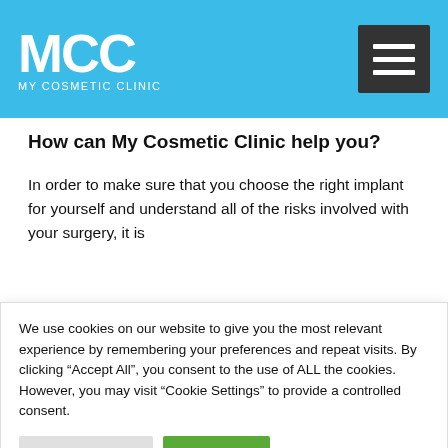MCC MY COSMETIC CLINIC
How can My Cosmetic Clinic help you?
In order to make sure that you choose the right implant for yourself and understand all of the risks involved with your surgery, it is [ed plastic surgeon. by giving you breasts.] [re training and is a ve surgeon who edures for the Lift (Mastopexy), nd also]
We use cookies on our website to give you the most relevant experience by remembering your preferences and repeat visits. By clicking “Accept All”, you consent to the use of ALL the cookies. However, you may visit “Cookie Settings” to provide a controlled consent.